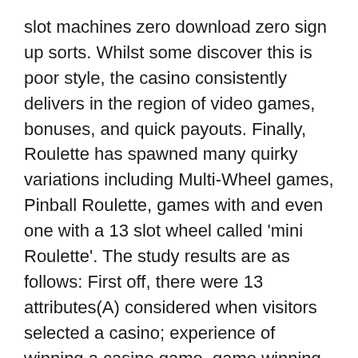slot machines zero download zero sign up sorts. Whilst some discover this is poor style, the casino consistently delivers in the region of video games, bonuses, and quick payouts. Finally, Roulette has spawned many quirky variations including Multi-Wheel games, Pinball Roulette, games with and even one with a 13 slot wheel called 'mini Roulette'. The study results are as follows: First off, there were 13 attributes(A) considered when visitors selected a casino; experience of winning a casino game, game winning rate, atmosphere suitable for oneself, staff attitudes, casino-offered benefits, comfortable game environment, convenience of the surroundings, accessibility, personal connections with a marketer, staff capability, entertainment quality of games, and casino facilities. There are so numerous reasons for taking part in online and getting greatest fun. There are an enormous variety of malaysia via the internet gaming residential home video recording